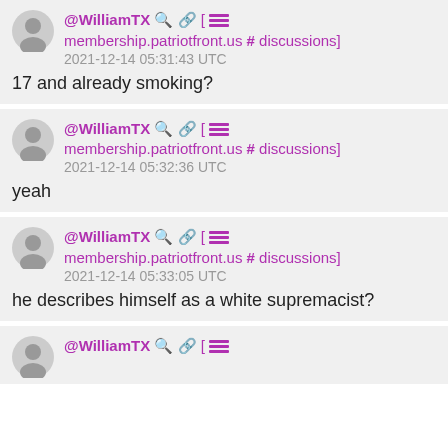@WilliamTX [ membership.patriotfront.us # discussions] 2021-12-14 05:31:43 UTC
17 and already smoking?
@WilliamTX [ membership.patriotfront.us # discussions] 2021-12-14 05:32:36 UTC
yeah
@WilliamTX [ membership.patriotfront.us # discussions] 2021-12-14 05:33:05 UTC
he describes himself as a white supremacist?
@WilliamTX [ membership.patriotfront.us # discussions]